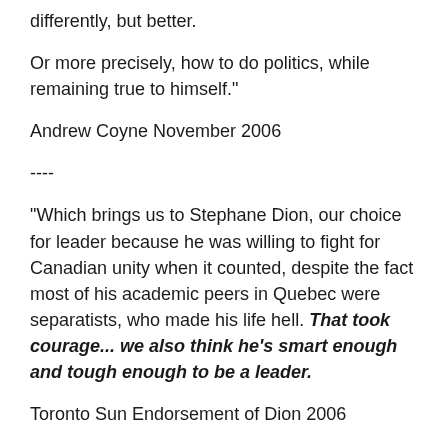differently, but better.
Or more precisely, how to do politics, while remaining true to himself."
Andrew Coyne November 2006
----
"Which brings us to Stephane Dion, our choice for leader because he was willing to fight for Canadian unity when it counted, despite the fact most of his academic peers in Quebec were separatists, who made his life hell. That took courage... we also think he's smart enough and tough enough to be a leader.
Toronto Sun Endorsement of Dion 2006
----
"A word to the wise: when the subject is Dion